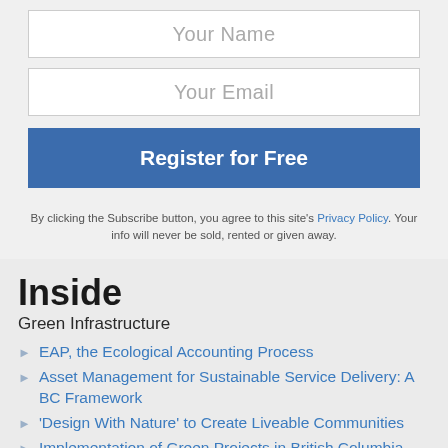Your Name
Your Email
Register for Free
By clicking the Subscribe button, you agree to this site's Privacy Policy. Your info will never be sold, rented or given away.
Inside
Green Infrastructure
EAP, the Ecological Accounting Process
Asset Management for Sustainable Service Delivery: A BC Framework
'Design With Nature' to Create Liveable Communities
Implementation of Green Projects in British Columbia and Beyond
Showcasing of Green Infrastructure Innovation in British Columbia
BC's Green Infrastructure Partnership
BC's Green Communities Initiative